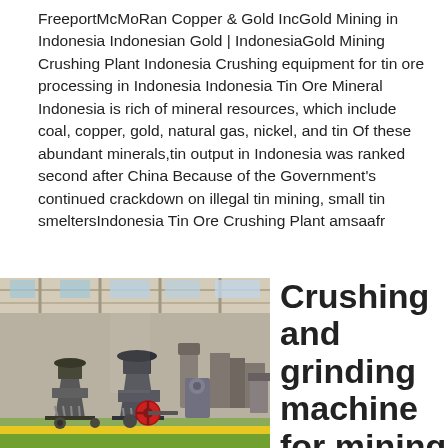FreeportMcMoRan Copper & Gold IncGold Mining in Indonesia Indonesian Gold | IndonesiaGold Mining Crushing Plant Indonesia Crushing equipment for tin ore processing in Indonesia Indonesia Tin Ore Mineral Indonesia is rich of mineral resources, which include coal, copper, gold, natural gas, nickel, and tin Of these abundant minerals,tin output in Indonesia was ranked second after China Because of the Government's continued crackdown on illegal tin mining, small tin smeltersIndonesia Tin Ore Crushing Plant amsaafr
[Figure (photo): Industrial crushing and grinding machinery on a factory floor, with large cone crushers and mechanical equipment arranged in a manufacturing facility with high ceilings and a green/yellow floor stripe.]
Crushing and grinding machine for mining